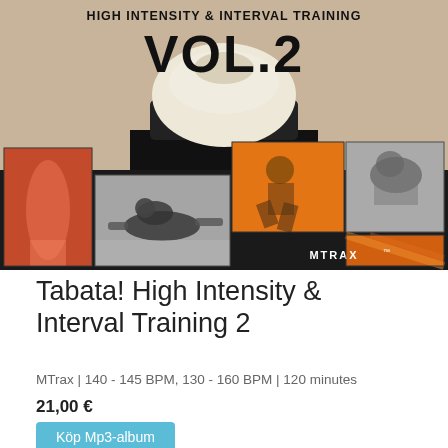[Figure (photo): Album cover for Tabata! High Intensity & Interval Training Vol.2 by MTrax. Features a collage of fitness/exercise photos including athletes doing push-ups and other high-intensity exercises. Dark background with orange-tinted and black-and-white photos arranged in a grid. Text reads 'HIGH INTENSITY & INTERVAL TRAINING VOL.2' at the top. MTRAX logo in bottom right area.]
Tabata! High Intensity & Interval Training 2
MTrax | 140 - 145 BPM, 130 - 160 BPM | 120 minutes
21,00 €
Köp Mp3-album